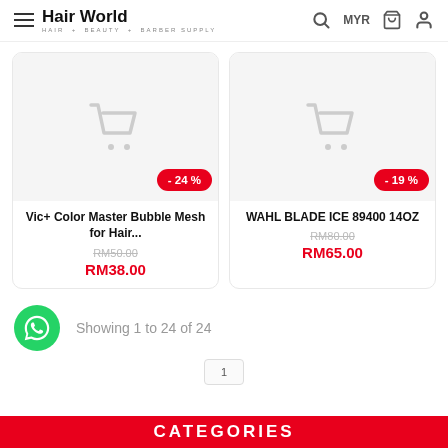Hair World — HAIR + BEAUTY + BARBER SUPPLY
[Figure (screenshot): Product card with shopping cart placeholder image, -24% discount badge, product name 'Vic+ Color Master Bubble Mesh for Hair...', original price RM50.00 (strikethrough), sale price RM38.00]
[Figure (screenshot): Product card with shopping cart placeholder image, -19% discount badge, product name 'WAHL BLADE ICE 89400 14OZ', original price RM80.00 (strikethrough), sale price RM65.00]
Showing 1 to 24 of 24
CATEGORIES